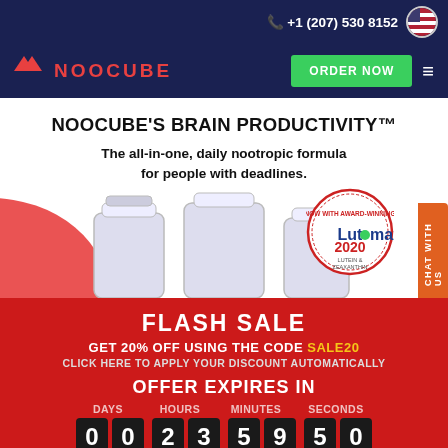+1 (207) 530 8152
[Figure (logo): NooCube logo with red chevron icon and text NOOCUBE in red on dark navy background]
NOOCUBE'S BRAIN PRODUCTIVITY™
The all-in-one, daily nootropic formula for people with deadlines.
[Figure (photo): Three white supplement bottles with Lutemax 2020 award badge]
FLASH SALE
GET 20% OFF USING THE CODE SALE20
CLICK HERE TO APPLY YOUR DISCOUNT AUTOMATICALLY
OFFER EXPIRES IN
DAYS 00 HOURS 23 MINUTES 59 SECONDS 50